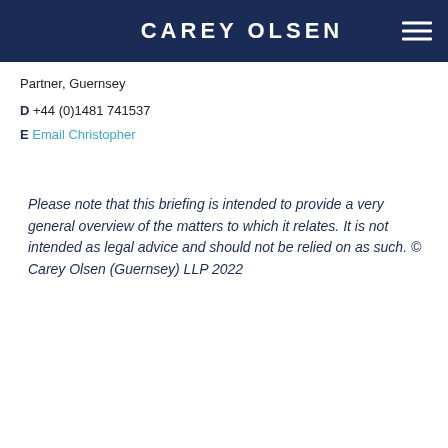CAREY OLSEN
Partner, Guernsey
D +44 (0)1481 741537
E Email Christopher
Please note that this briefing is intended to provide a very general overview of the matters to which it relates. It is not intended as legal advice and should not be relied on as such. © Carey Olsen (Guernsey) LLP 2022